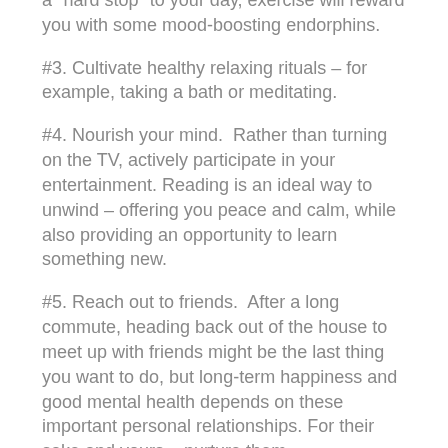a "hard stop" to your day, exercise will reward you with some mood-boosting endorphins.
#3. Cultivate healthy relaxing rituals – for example, taking a bath or meditating.
#4. Nourish your mind.  Rather than turning on the TV, actively participate in your entertainment. Reading is an ideal way to unwind – offering you peace and calm, while also providing an opportunity to learn something new.
#5. Reach out to friends.  After a long commute, heading back out of the house to meet up with friends might be the last thing you want to do, but long-term happiness and good mental health depends on these important personal relationships. For their sake and yours – nurture them.
#6. Make time for family.  Don't rely on screen time to bond: go low-fi with your quality family time and